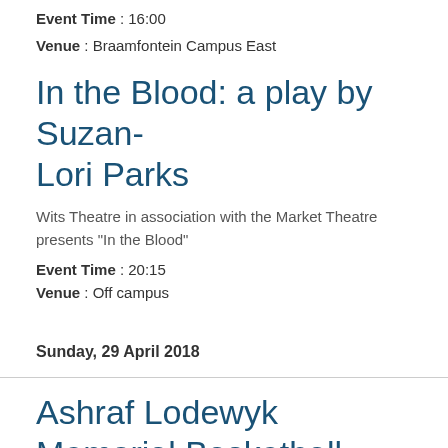Event Time : 16:00
Venue : Braamfontein Campus East
In the Blood: a play by Suzan-Lori Parks
Wits Theatre in association with the Market Theatre presents "In the Blood"
Event Time : 20:15
Venue : Off campus
Sunday, 29 April 2018
Ashraf Lodewyk Memorial Basketball Tournament